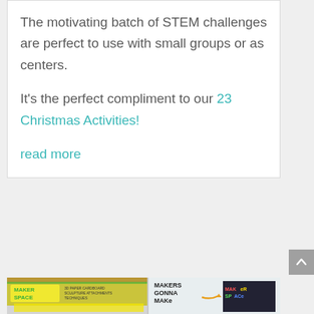The motivating batch of STEM challenges are perfect to use with small groups or as centers.

It's the perfect compliment to our 23 Christmas Activities!
read more
[Figure (photo): Two classroom makerspace bulletin boards: left shows a yellow 'MAKER SPACE' board with topics like paper sculpture, cardboard, and attachments; right shows a white board with 'MAKERS GONNA MAKE' text and an arrow pointing to a colorful 'MAKER SPACE' sign on a dark bulletin board.]